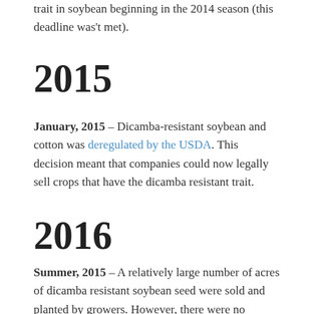trait in soybean beginning in the 2014 season (this deadline was't met).
2015
January, 2015 – Dicamba-resistant soybean and cotton was deregulated by the USDA. This decision meant that companies could now legally sell crops that have the dicamba resistant trait.
2016
Summer, 2015 – A relatively large number of acres of dicamba resistant soybean seed were sold and planted by growers. However, there were no dicamba formulations yet approved for use in these dicamba resistant crops